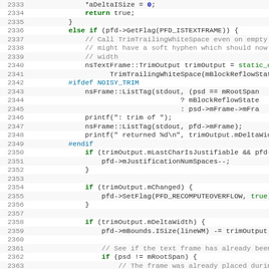[Figure (screenshot): Source code listing in a monospace code editor, showing C++ code lines 2333-2364 with line numbers, syntax highlighting (keywords in green bold, numbers in blue, comments in gray, preprocessor directives in teal).]